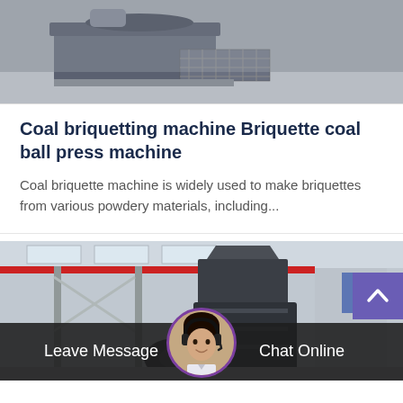[Figure (photo): Industrial coal briquetting machine in a factory setting, gray metallic equipment with rollers and mesh conveyor.]
Coal briquetting machine Briquette coal ball press machine
Coal briquette machine is widely used to make briquettes from various powdery materials, including...
[Figure (photo): Large industrial machine (crusher or briquette press) inside a factory warehouse, with red overhead crane visible and industrial structure in background.]
Leave Message
Chat Online